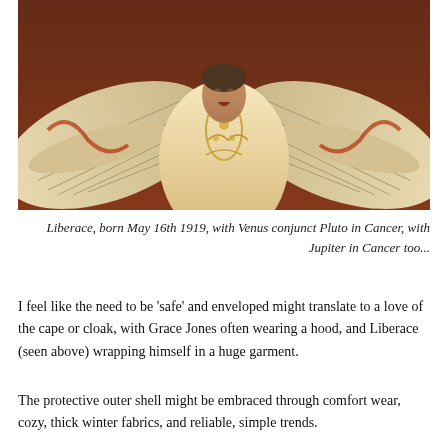[Figure (photo): Photo of Liberace performing on stage, wearing an elaborate ornate gold-embroidered costume with large wing-like extensions spread wide, arms outstretched, tilting his head back.]
Liberace, born May 16th 1919, with Venus conjunct Pluto in Cancer, with Jupiter in Cancer too...
I feel like the need to be 'safe' and enveloped might translate to a love of the cape or cloak, with Grace Jones often wearing a hood, and Liberace (seen above) wrapping himself in a huge garment.
The protective outer shell might be embraced through comfort wear, cozy, thick winter fabrics, and reliable, simple trends.